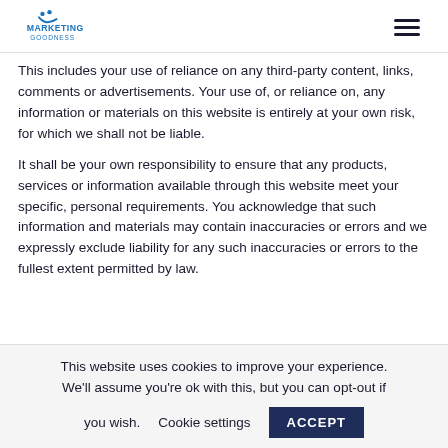Marketing Goodness logo and navigation menu
This includes your use of reliance on any third-party content, links, comments or advertisements. Your use of, or reliance on, any information or materials on this website is entirely at your own risk, for which we shall not be liable.
It shall be your own responsibility to ensure that any products, services or information available through this website meet your specific, personal requirements. You acknowledge that such information and materials may contain inaccuracies or errors and we expressly exclude liability for any such inaccuracies or errors to the fullest extent permitted by law.
This website uses cookies to improve your experience. We'll assume you're ok with this, but you can opt-out if you wish. Cookie settings ACCEPT